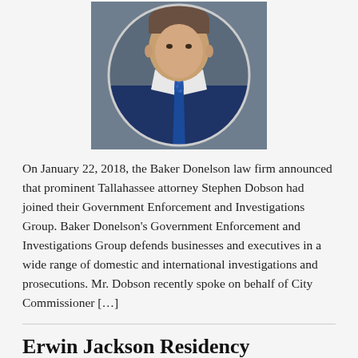[Figure (photo): Circular cropped professional headshot of a man in a dark navy suit with a blue patterned tie, white shirt, grey background]
On January 22, 2018, the Baker Donelson law firm announced that prominent Tallahassee attorney Stephen Dobson had joined their Government Enforcement and Investigations Group. Baker Donelson’s Government Enforcement and Investigations Group defends businesses and executives in a wide range of domestic and international investigations and prosecutions. Mr. Dobson recently spoke on behalf of City Commissioner […]
Erwin Jackson Residency